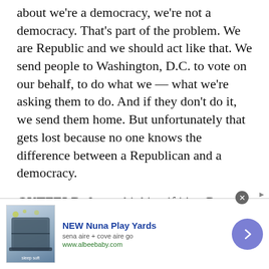about we're a democracy, we're not a democracy. That's part of the problem. We are Republic and we should act like that. We send people to Washington, D.C. to vote on our behalf, to do what we — what we're asking them to do. And if they don't do it, we send them home. But unfortunately that gets lost because no one knows the difference between a Republican and a democracy.
GUTFELD: I was thinking if it's a Ben and Jerry's because, you know, Cherry Garcia, all the clever puns if they ever did a celebrity — like if they ever did me which they never would — I already know what might — that my ice cream would be called.
[Figure (other): Advertisement banner for NEW Nuna Play Yards (sena aire + cove aire go) from www.albeebaby.com, showing a product image on the left and a navigation arrow button on the right.]